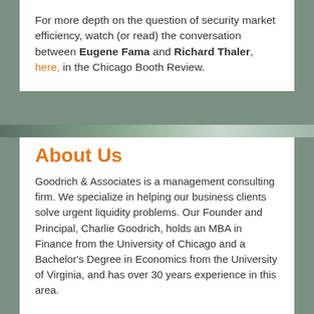For more depth on the question of security market efficiency, watch (or read) the conversation between Eugene Fama and Richard Thaler, here, in the Chicago Booth Review.
About Us
Goodrich & Associates is a management consulting firm. We specialize in helping our business clients solve urgent liquidity problems. Our Founder and Principal, Charlie Goodrich, holds an MBA in Finance from the University of Chicago and a Bachelor's Degree in Economics from the University of Virginia, and has over 30 years experience in this area.
To ensure that you continue to receive emails from us, please add charlie@goodrich-associates.com to your address book.